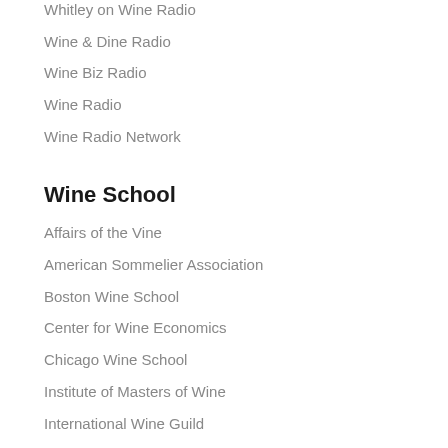Vin Village
Whitley on Wine Radio
Wine & Dine Radio
Wine Biz Radio
Wine Radio
Wine Radio Network
Wine School
Affairs of the Vine
American Sommelier Association
Boston Wine School
Center for Wine Economics
Chicago Wine School
Institute of Masters of Wine
International Wine Guild